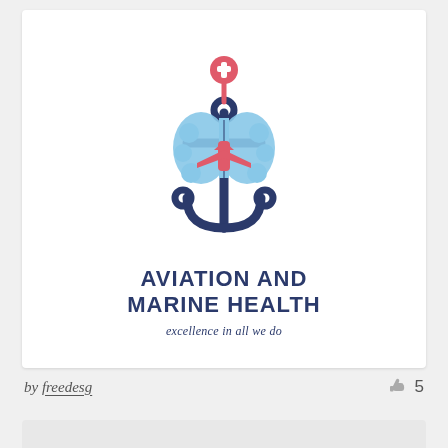[Figure (logo): Aviation and Marine Health logo — a stylized brain overlaid on an anchor, with a red cross medical pin on top and an airplane silhouette in the center. Colors: blue brain, dark navy anchor, red/pink accents.]
AVIATION AND MARINE HEALTH
excellence in all we do
by freedesg  👍 5